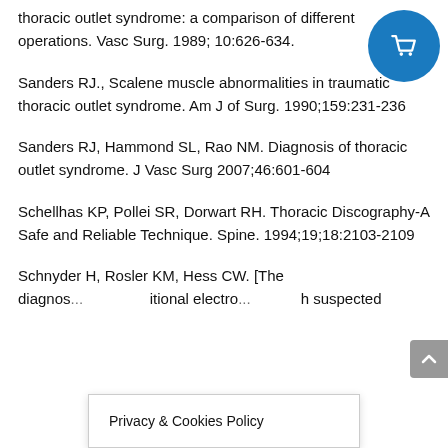thoracic outlet syndrome: a comparison of different operations. Vasc Surg. 1989; 10:626-634.
Sanders RJ., Scalene muscle abnormalities in traumatic thoracic outlet syndrome. Am J of Surg. 1990;159:231-236
Sanders RJ, Hammond SL, Rao NM. Diagnosis of thoracic outlet syndrome. J Vasc Surg 2007;46:601-604
Schellhas KP, Pollei SR, Dorwart RH. Thoracic Discography-A Safe and Reliable Technique. Spine. 1994;19;18:2103-2109
Schnyder H, Rosler KM, Hess CW. [The diagnos... itional electro... h suspected